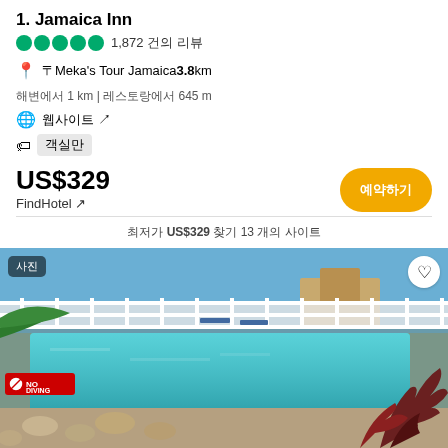1. Jamaica Inn
●●●●● 1,872 건의 리뷰
📍 〒Meka's Tour Jamaica 3.8 km
해변에서 1 km | 레스토랑에서 645 m
🌐 웹사이트 ↗
🏷 객실만
US$329
FindHotel ↗
최저가 US$329 찾기 13 개의 사이트
[Figure (photo): Outdoor pool area of Jamaica Inn with white railings, lounge chairs, tropical plants, and ocean view in background. Sign reads NO DIVING.]